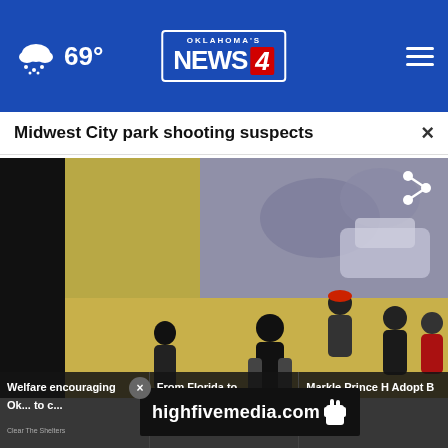Oklahoma's News 4 — 69°
Midwest City park shooting suspects
[Figure (screenshot): Surveillance camera footage showing several people walking near a graffiti-covered wall in a parking area; dark panel on left side of frame.]
Welfare encouraging Oklahoma to give
From Florida to
Markle Prince H Adopt B Rescued
highfivemedia.com
Clear The Shelters
Clear The Shelters
Clear The She